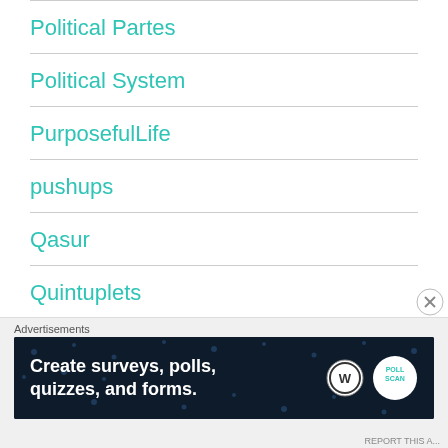Political Parties
Political System
PurposefulLife
pushups
Qasur
Quintuplets
Saudi Arabia
[Figure (screenshot): Advertisement banner: 'Create surveys, polls, quizzes, and forms.' with WordPress and PollScan logos on dark navy background]
REPORT THIS A...